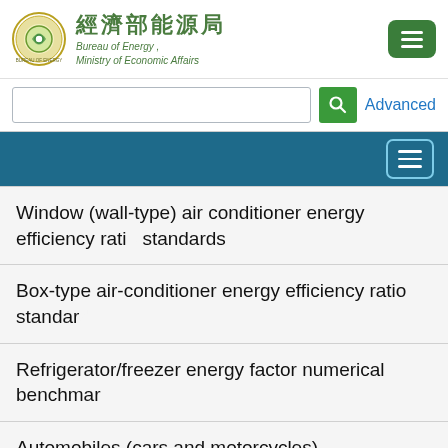經濟部能源局 Bureau of Energy, Ministry of Economic Affairs
Window (wall-type) air conditioner energy efficiency ratio standards
Box-type air-conditioner energy efficiency ratio standards
Refrigerator/freezer energy factor numerical benchmark
Automobiles (cars and motorcycles)
Dehumidifier
self-ballasted fluorescent lamps